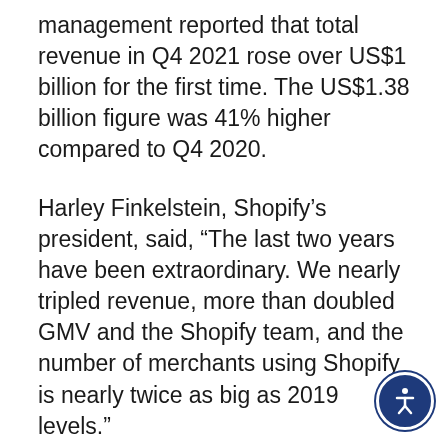management reported that total revenue in Q4 2021 rose over US$1 billion for the first time. The US$1.38 billion figure was 41% higher compared to Q4 2020.
Harley Finkelstein, Shopify's president, said, “The last two years have been extraordinary. We nearly tripled revenue, more than doubled GMV and the Shopify team, and the number of merchants using Shopify is nearly twice as big as 2019 levels.”
The provider of essential internet infrastructure for commerce reported a net income of US$2.91 billion for the year compared to US$319.5 million in fiscal 2020. While management said that